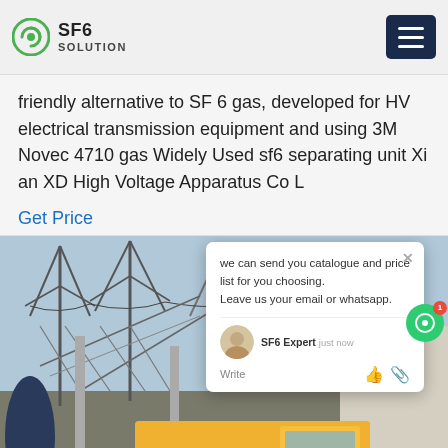SF6 SOLUTION
friendly alternative to SF 6 gas, developed for HV electrical transmission equipment and using 3M Novec 4710 gas Widely Used sf6 separating unit Xi an XD High Voltage Apparatus Co L
Get Price
[Figure (photo): Electrical substation with high voltage transmission towers and an Isuzu yellow truck in the foreground. A chat popup overlay is visible showing: 'we can send you catalogue and price list for you choosing. Leave us your email or whatsapp.' with an SF6 Expert agent noted as 'just now'.]